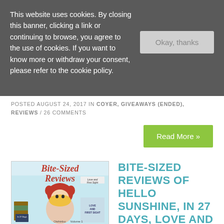This website uses cookies. By closing this banner, clicking a link or continuing to browse, you agree to the use of cookies. If you want to know more or withdraw your consent, please refer to the cookie policy.
POSTED AUGUST 24, 2017 IN COYER, GIVEAWAYS (ENDED), REVIEWS / 26 COMMENTS
Read More »
[Figure (illustration): Book cover collage for 'Bite-Sized Reviews' featuring an anime-style girl in a red hood, with smaller book covers for 'Hello, Sunshine', 'In 27 Days', 'Love and First Sight', and 'Oishinbo: Volume 1']
BITE-SIZED REVIEWS OF HELLO SUNSHINE, IN 27 DAYS, LOVE AND FIRST